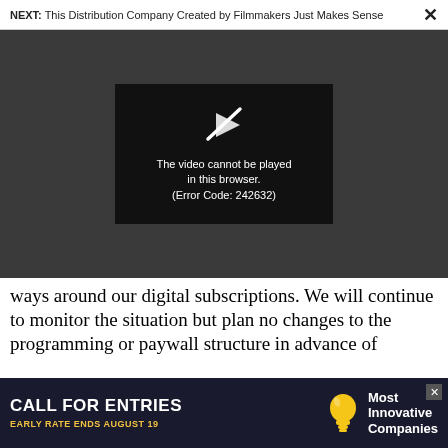NEXT: This Distribution Company Created by Filmmakers Just Makes Sense ✕
[Figure (screenshot): Video player showing error message: 'The video cannot be played in this browser. (Error Code: 242632)' with a play button icon on a dark background.]
ways around our digital subscriptions. We will continue to monitor the situation but plan no changes to the programming or paywall structure in advance of
[Figure (infographic): Advertisement banner reading 'CALL FOR ENTRIES EARLY RATE ENDS AUGUST 19' with a lightbulb icon and 'Most Innovative Companies' text on dark blue background.]